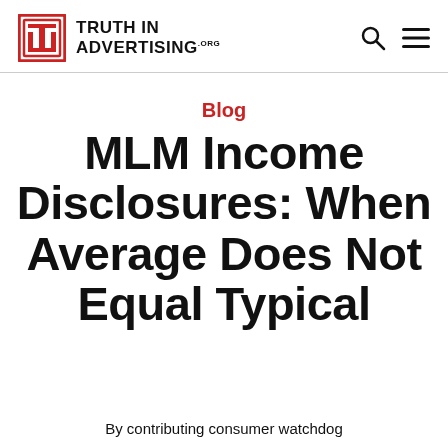TRUTH IN ADVERTISING
Blog
MLM Income Disclosures: When Average Does Not Equal Typical